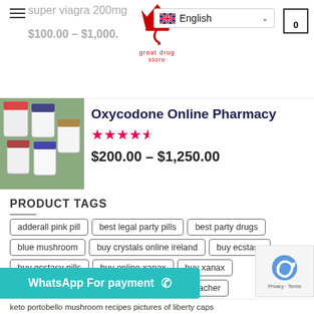[Figure (screenshot): Website navigation bar with logo, English language selector, and cart icon showing 0]
super viagra 200mg
$100.00 – $1,000.00
[Figure (photo): Product photo showing bottles of pills - Oxycodone Online Pharmacy]
Oxycodone Online Pharmacy
★★★★½  $200.00 – $1,250.00
PRODUCT TAGS
adderall pink pill
best legal party pills
best party drugs
blue mushroom
buy crystals online ireland
buy ecstasy
buy ecstasy pills
buy online xanax
buy xanax
can you snort molly
drugs m
golden teacher
golden teacher mushrooms
how long does viagra last
WhatsApp For payment
keto portobello mushroom recipes pictures of liberty caps